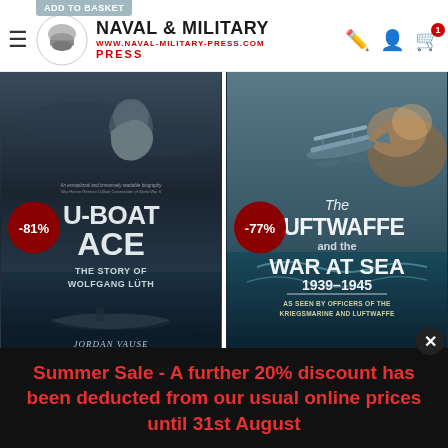[Figure (screenshot): Naval & Military Press website header with hamburger menu, logo (soldier silhouette), brand name 'NAVAL & MILITARY PRESS', navigation icons (pencil, person, shopping cart with badge '1'), and an 'ADD TO BASKET' button partially visible at top]
[Figure (photo): Book cover: 'U-BOAT ACE - The Story of Wolfgang Lüth' by Jordan Vause, showing a man's profile in dark tones with a submarine. Has -81% discount badge in dark red circle.]
[Figure (photo): Book cover: 'The Luftwaffe and the War at Sea 1939-1945 - As Seen by Officers of the Kriegsmarine and Luftwaffe', showing a seaplane/floatplane in action. Has -77% discount badge in dark red circle.]
Summer Sale - A further 20% discount has been deducted from our usual online prices until 31st August